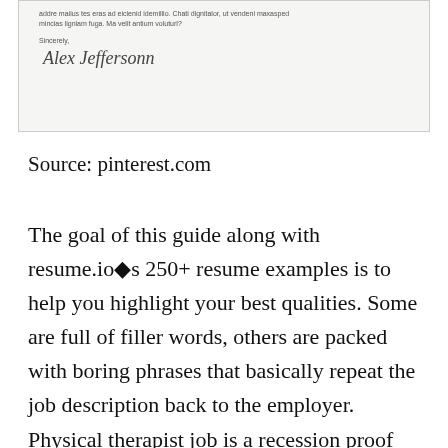[Figure (other): Partial view of a letter document with Lorem Ipsum-style placeholder text, 'Sincerely,' closing, and a cursive signature reading 'Alex Jeffersonn']
Source: pinterest.com
The goal of this guide along with resume.io�s 250+ resume examples is to help you highlight your best qualities. Some are full of filler words, others are packed with boring phrases that basically repeat the job description back to the employer. Physical therapist job is a recession proof job. You can with this expert physical